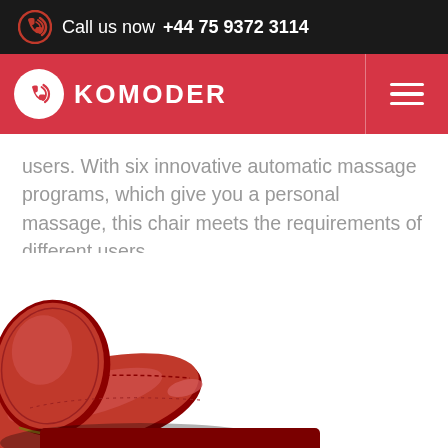Call us now  +44 75 9372 3114
KOMODER
users. With six innovative automatic massage programs, which give you a personal massage, this chair meets the requirements of different users.
[Figure (photo): A red massage chair arm/headrest, cropped view showing the red leather upholstery]